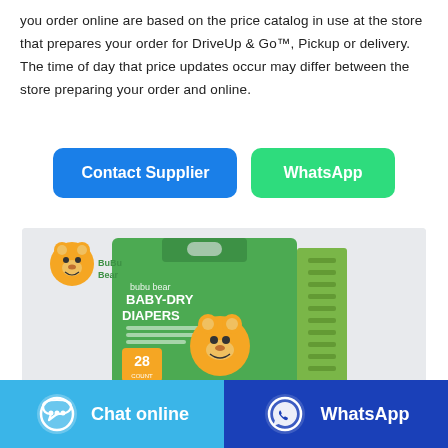you order online are based on the price catalog in use at the store that prepares your order for DriveUp & Go™, Pickup or delivery. The time of day that price updates occur may differ between the store preparing your order and online.
[Figure (other): Two buttons side by side: blue 'Contact Supplier' button and green 'WhatsApp' button]
[Figure (photo): Product photo of Bubu Bear Baby-Dry Diapers box with 28 count, green packaging featuring a cartoon bear character, with Bubu Bear logo in top left]
[Figure (other): Footer bar with two buttons: light blue 'Chat online' button with chat icon on left, and dark blue 'WhatsApp' button with WhatsApp icon on right]